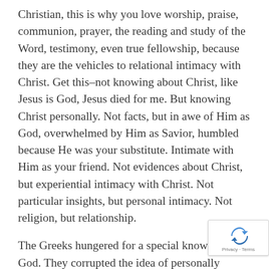Christian, this is why you love worship, praise, communion, prayer, the reading and study of the Word, testimony, even true fellowship, because they are the vehicles to relational intimacy with Christ. Get this–not knowing about Christ, like Jesus is God, Jesus died for me. But knowing Christ personally. Not facts, but in awe of Him as God, overwhelmed by Him as Savior, humbled because He was your substitute. Intimate with Him as your friend. Not evidences about Christ, but experiential intimacy with Christ. Not particular insights, but personal intimacy. Not religion, but relationship.
The Greeks hungered for a special knowledge of God. They corrupted the idea of personally knowing God by making that knowledge exclusive, or sought to explain that intimacy with God through the veh[icle of] drunkenness or through the vehicle of immoral[ity] with a Temple prostitute. But Paul uses gnosis,
[Figure (logo): reCAPTCHA badge with Privacy - Terms text]